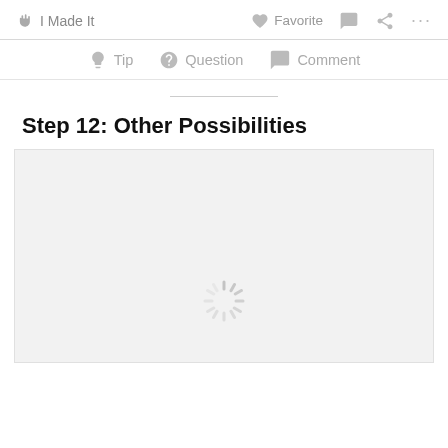I Made It   Favorite   [comment icon]   [share icon]   ...
Tip   Question   Comment
Step 12: Other Possibilities
[Figure (other): Loading spinner (animated loading indicator) centered in a light grey image placeholder area]